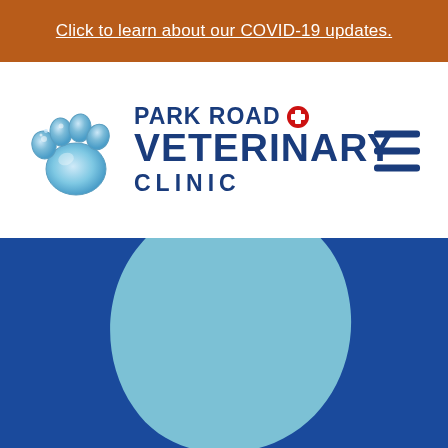Click to learn about our COVID-19 updates.
[Figure (logo): Park Road Veterinary Clinic logo with blue paw print and red cross icon]
Back to the Blog
[Figure (illustration): Dark blue rectangular image area with a large light blue organic blob/teardrop shape centered on top of it]